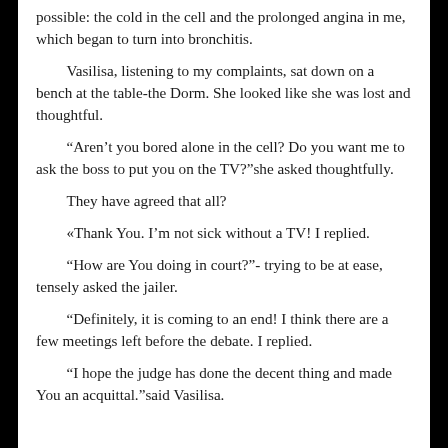possible: the cold in the cell and the prolonged angina in me, which began to turn into bronchitis.
Vasilisa, listening to my complaints, sat down on a bench at the table-the Dorm. She looked like she was lost and thoughtful.
“Aren’t you bored alone in the cell? Do you want me to ask the boss to put you on the TV?”she asked thoughtfully.
They have agreed that all?
«Thank You. I’m not sick without a TV! I replied.
“How are You doing in court?”- trying to be at ease, tensely asked the jailer.
“Definitely, it is coming to an end! I think there are a few meetings left before the debate. I replied.
“I hope the judge has done the decent thing and made You an acquittal.”said Vasilisa.